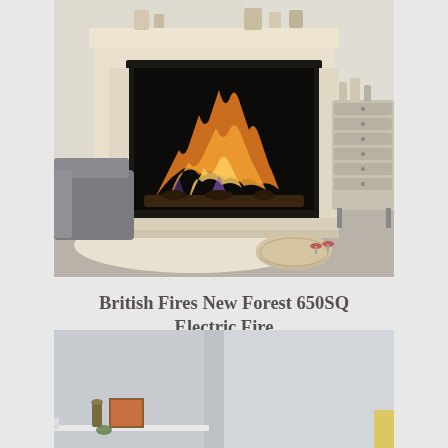[Figure (photo): Photo of a British Fires New Forest 650SQ Electric Fire installed in a beige stone fireplace surround in a living room setting, with flames visible, a grey sofa on the left, a wooden chest of drawers on the right, and a fluffy white rug with a round coffee table and wine glasses in the foreground.]
British Fires New Forest 650SQ Electric Fire
[Figure (photo): Partial photo of what appears to be a white/grey recessed fireplace or built-in unit with a shelf, with a small decorative item visible on the lower left.]